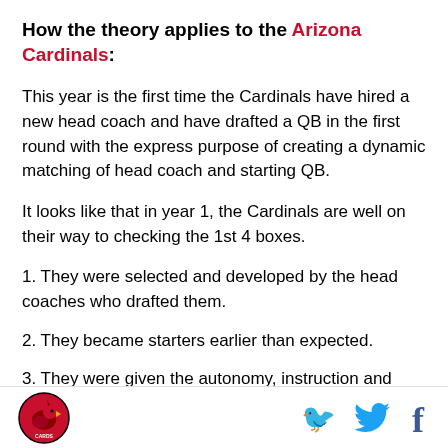How the theory applies to the Arizona Cardinals:
This year is the first time the Cardinals have hired a new head coach and have drafted a QB in the first round with the express purpose of creating a dynamic matching of head coach and starting QB.
It looks like that in year 1, the Cardinals are well on their way to checking the 1st 4 boxes.
1. They were selected and developed by the head coaches who drafted them.
2. They became starters earlier than expected.
3. They were given the autonomy, instruction and
Arizona Cardinals logo, Twitter and Facebook icons